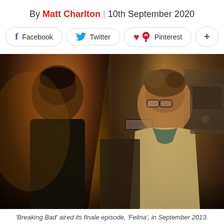By Matt Charlton | 10th September 2020
[Figure (infographic): Social sharing buttons: Facebook, Twitter, Pinterest, and a plus button]
[Figure (photo): Scene from Breaking Bad showing two figures facing each other in a dimly lit interior. One figure is on the left, the other on the right wearing glasses and a light-colored jacket.]
'Breaking Bad' aired its finale episode, 'Felina', in September 2013. Credit: Alamy